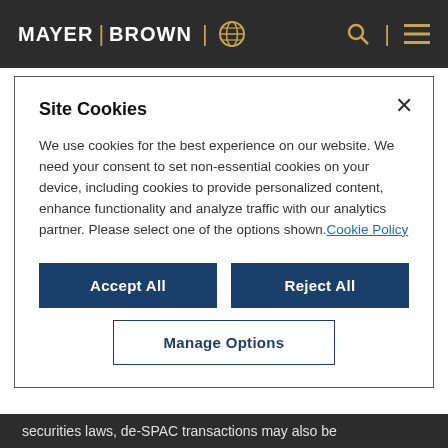MAYER | BROWN
company's clinical trials of the pharmaceutical product in question.15 Similarly, in a putative class action complaint filed in the Central District of
Site Cookies
We use cookies for the best experience on our website. We need your consent to set non-essential cookies on your device, including cookies to provide personalized content, enhance functionality and analyze traffic with our analytics partner. Please select one of the options shown. Cookie Policy
securities laws, de-SPAC transactions may also be